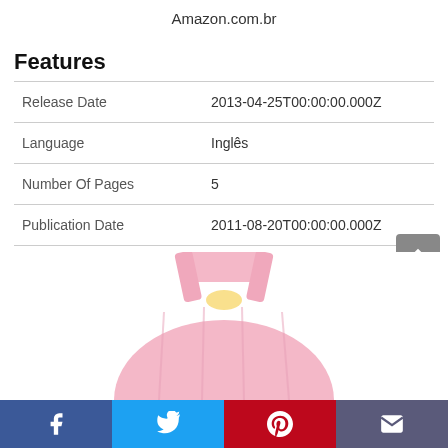Amazon.com.br
Features
| Release Date | 2013-04-25T00:00:00.000Z |
| Language | Inglês |
| Number Of Pages | 5 |
| Publication Date | 2011-08-20T00:00:00.000Z |
| Format | eBook Kindle |
[Figure (photo): Partial view of a pink children's garment/clothing item]
[Figure (other): Social media bar with Facebook, Twitter, Pinterest, and email buttons]